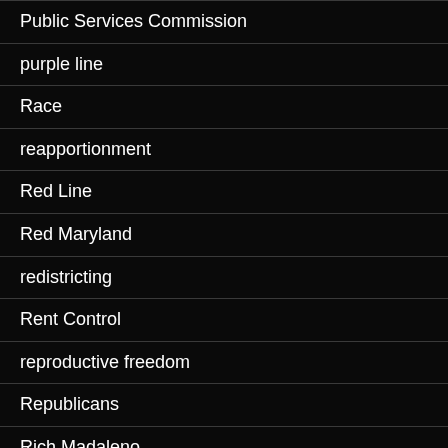Public Services Commission
purple line
Race
reapportionment
Red Line
Red Maryland
redistricting
Rent Control
reproductive freedom
Republicans
Rich Madaleno
Robert Ehrlich
Robin Fink